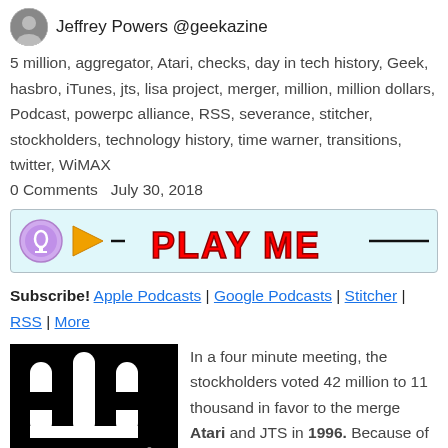Jeffrey Powers @geekazine
5 million, aggregator, Atari, checks, day in tech history, Geek, hasbro, iTunes, jts, lisa project, merger, million, million dollars, Podcast, powerpc alliance, RSS, severance, stitcher, stockholders, technology history, time warner, transitions, twitter, WiMAX
0 Comments   July 30, 2018
[Figure (other): Podcast player bar with play button and PLAY ME text]
Subscribe! Apple Podcasts | Google Podcasts | Stitcher | RSS | More
[Figure (photo): Atari logo on black background]
In a four minute meeting, the stockholders voted 42 million to 11 thousand in favor to the merge Atari and JTS in 1996. Because of the decision, Sam